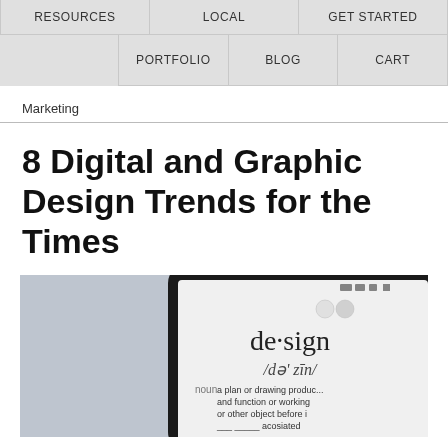RESOURCES | LOCAL | GET STARTED | PORTFOLIO | BLOG | CART
Marketing
8 Digital and Graphic Design Trends for the Times
[Figure (photo): A smartphone displaying a dictionary definition of the word 'design' (de·sign, /də'zīn/, noun: a plan or drawing produced to show the look and function or working of a building, garment, or other object before it is made).]